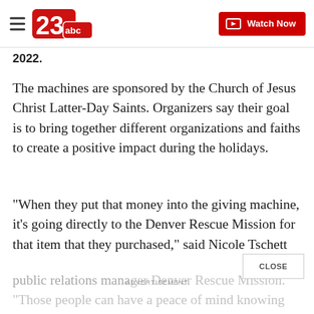23abc — Watch Now
2022.
The machines are sponsored by the Church of Jesus Christ Latter-Day Saints. Organizers say their goal is to bring together different organizations and faiths to create a positive impact during the holidays.
"When they put that money into the giving machine, it's going directly to the Denver Rescue Mission for that item that they purchased," said Nicole Tschett
public relations manager Denver Rescue Mission. "Those people can have a peace of mind knowing that their dollar is going exactly to that com-